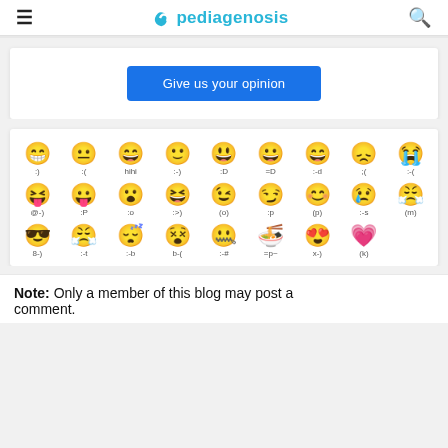pediagenosis
Give us your opinion
[Figure (other): Grid of emoji faces with their text codes: :) :( hihi :-) :D =D :-d ;( :-( @-) :P :o :>) (o) :p (p) :-s (m) 8-) :-t :-b b-( :-# =p~ x-) (k)]
Note: Only a member of this blog may post a comment.